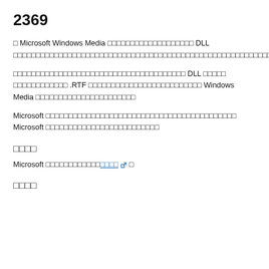2369
□ Microsoft Windows Media □□□□□□□□□□□□□□□□□□□ DLL □□□□□□□□□□□□□□□□□□□□□□□□□□□□□□□□□□□□□□□□□□□□□□□□□□□□□□□□□□□□□□□□□□□□□□□□□□□□□□
□□□□□□□□□□□□□□□□□□□□□□□□□□□□□□□□□□□□□□ DLL □□□□□ □□□□□□□□□□□□ .RTF □□□□□□□□□□□□□□□□□□□□□□□□□ Windows Media □□□□□□□□□□□□□□□□□□□□□□
Microsoft □□□□□□□□□□□□□□□□□□□□□□□□□□□□□□□□□□□□□□□□□□ Microsoft □□□□□□□□□□□□□□□□□□□□□□□□□
□□□□
Microsoft □□□□□□□□□□□□□□□□ □  □
□□□□